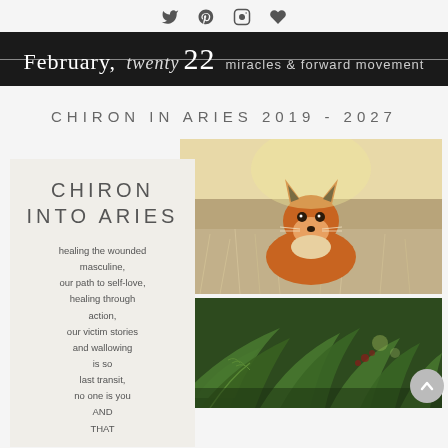[social icons: twitter, pinterest, instagram, heart]
February, twenty 22  miracles & forward movement
CHIRON IN ARIES 2019 - 2027
[Figure (infographic): Left card on light beige background with text: CHIRON INTO ARIES, healing the wounded masculine, our path to self-love, healing through action, our victim stories and wallowing is so last transit, no one is you AND THAT]
[Figure (photo): Photo of a red fox sitting on frosted grass in winter sunlight]
[Figure (photo): Photo of green ferns and foliage]